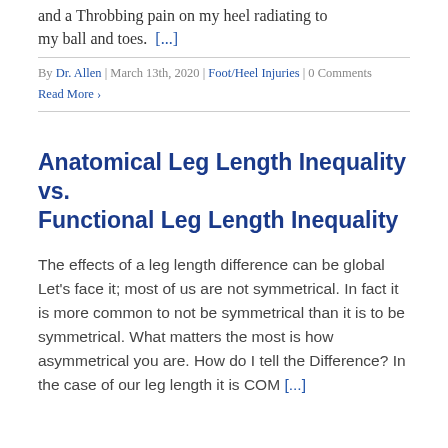and a Throbbing pain on my heel radiating to my ball and toes. [...]
By Dr. Allen | March 13th, 2020 | Foot/Heel Injuries | 0 Comments
Read More >
Anatomical Leg Length Inequality vs. Functional Leg Length Inequality
The effects of a leg length difference can be global Let's face it; most of us are not symmetrical. In fact it is more common to not be symmetrical than it is to be symmetrical. What matters the most is how asymmetrical you are. How do I tell the Difference? In the case of our leg length it is COM [...]